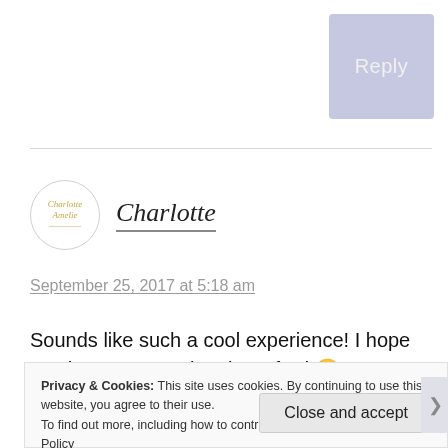[Figure (other): Reply button — a lavender/periwinkle rounded rectangle with the word Reply in light text]
[Figure (other): Charlotte Amelie circular avatar logo with cursive text and decorative underline]
Charlotte
September 25, 2017 at 5:18 am
Sounds like such a cool experience! I hope you have a great time in Oxford 🙂
Privacy & Cookies: This site uses cookies. By continuing to use this website, you agree to their use.
To find out more, including how to control cookies, see here: Cookie Policy
Close and accept